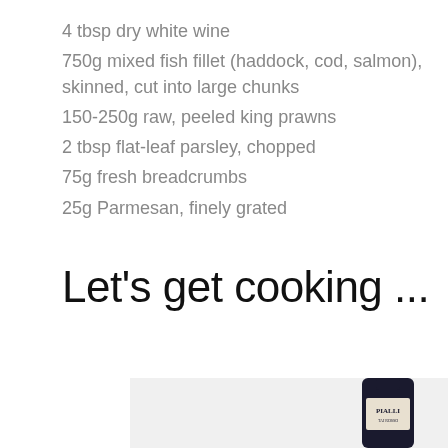4 tbsp dry white wine
750g mixed fish fillet (haddock, cod, salmon), skinned, cut into large chunks
150-250g raw, peeled king prawns
2 tbsp flat-leaf parsley, chopped
75g fresh breadcrumbs
25g Parmesan, finely grated
Let's get cooking ...
[Figure (photo): A bottle of Pialli wine partially visible at the bottom of the page]